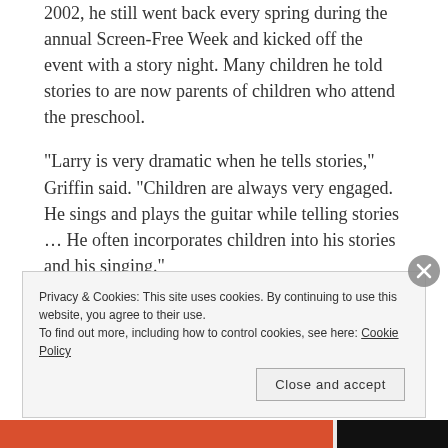2002, he still went back every spring during the annual Screen-Free Week and kicked off the event with a story night. Many children he told stories to are now parents of children who attend the preschool.
“Larry is very dramatic when he tells stories,” Griffin said. “Children are always very engaged. He sings and plays the guitar while telling stories … He often incorporates children into his stories and his singing.”
Challenges and hopes
With the rise of digital technology and decline of
Privacy & Cookies: This site uses cookies. By continuing to use this website, you agree to their use.
To find out more, including how to control cookies, see here: Cookie Policy